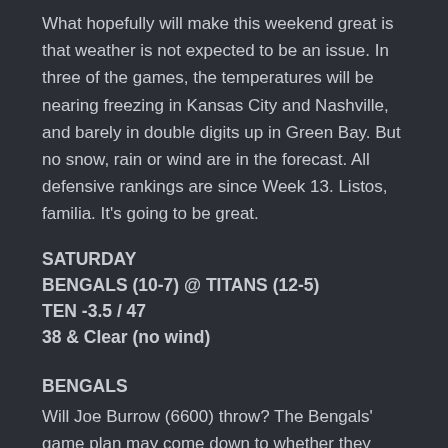What hopefully will make this weekend great is that weather is not expected to be an issue. In three of the games, the temperatures will be nearing freezing in Kansas City and Nashville, and barely in double digits up in Green Bay. But no snow, rain or wind are in the forecast. All defensive rankings are since Week 13. Listos, familia. It's going to be great.
SATURDAY
BENGALS (10-7) @ TITANS (12-5)
TEN -3.5 / 47
38 & Clear (no wind)
BENGALS
Will Joe Burrow (6600) throw? The Bengals' game plan may come down to whether they give